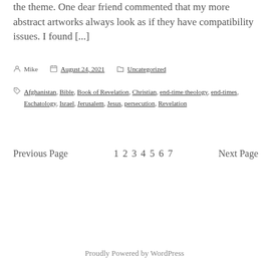the theme. One dear friend commented that my more abstract artworks always look as if they have compatibility issues. I found [...]
Mike  August 24, 2021  Uncategorized
Tags: Afghanistan, Bible, Book of Revelation, Christian, end-time theology, end-times, Eschatology, Israel, Jerusalem, Jesus, persecution, Revelation
Previous Page  1 2 3 4 5 6 7  Next Page
Proudly Powered by WordPress